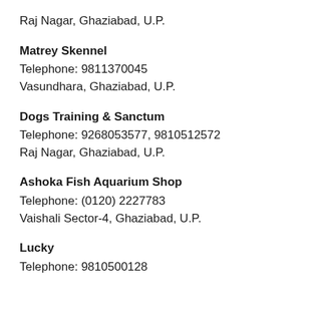Raj Nagar, Ghaziabad, U.P.
Matrey Skennel
Telephone: 9811370045
Vasundhara, Ghaziabad, U.P.
Dogs Training & Sanctum
Telephone: 9268053577, 9810512572
Raj Nagar, Ghaziabad, U.P.
Ashoka Fish Aquarium Shop
Telephone: (0120) 2227783
Vaishali Sector-4, Ghaziabad, U.P.
Lucky
Telephone: 9810500128